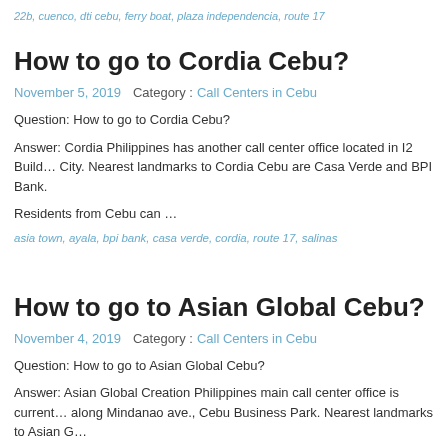22b, cuenco, dti cebu, ferry boat, plaza independencia, route 17
How to go to Cordia Cebu?
November 5, 2019   Category :  Call Centers in Cebu
Question: How to go to Cordia Cebu?
Answer: Cordia Philippines has another call center office located in I2 Building, Cebu City. Nearest landmarks to Cordia Cebu are Casa Verde and BPI Bank.
Residents from Cebu can …
asia town, ayala, bpi bank, casa verde, cordia, route 17, salinas
How to go to Asian Global Cebu?
November 4, 2019   Category :  Call Centers in Cebu
Question: How to go to Asian Global Cebu?
Answer: Asian Global Creation Philippines main call center office is currently along Mindanao ave., Cebu Business Park. Nearest landmarks to Asian G…